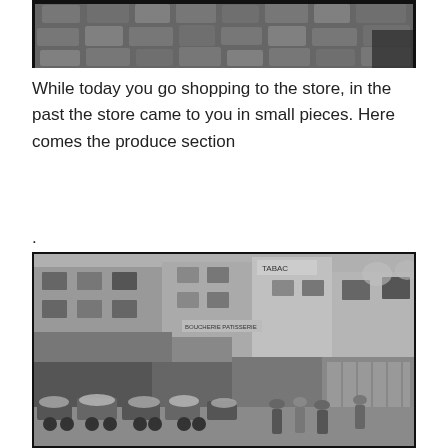[Figure (photo): Black and white historical photo showing cobblestone street or pavement, cropped at top of page]
While today you go shopping to the store, in the past the store came to you in small pieces. Here comes the produce section
.
[Figure (photo): Black and white historical photograph of a Parisian street scene showing old storefronts including a TABAC shop and other businesses, with street vendors and their carts loaded with produce in the foreground, and people walking on the cobblestone street]